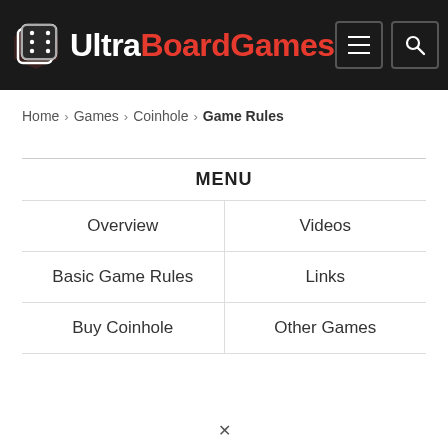UltraBoardGames
Home > Games > Coinhole > Game Rules
MENU
Overview
Videos
Basic Game Rules
Links
Buy Coinhole
Other Games